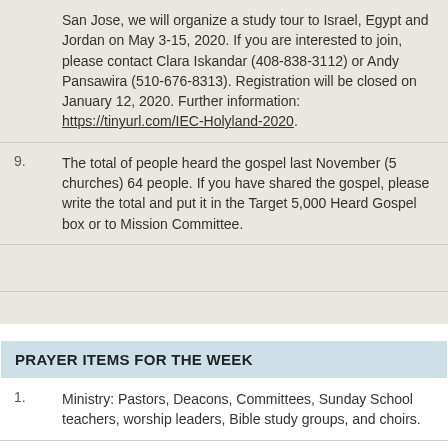San Jose, we will organize a study tour to Israel, Egypt and Jordan on May 3-15, 2020. If you are interested to join, please contact Clara Iskandar (408-838-3112) or Andy Pansawira (510-676-8313). Registration will be closed on January 12, 2020. Further information: https://tinyurl.com/IEC-Holyland-2020.
9. The total of people heard the gospel last November (5 churches) 64 people. If you have shared the gospel, please write the total and put it in the Target 5,000 Heard Gospel box or to Mission Committee.
PRAYER ITEMS FOR THE WEEK
1. Ministry: Pastors, Deacons, Committees, Sunday School teachers, worship leaders, Bible study groups, and choirs.
2. End of the year event: combined Christmas celebration (Dec 14), Christmas service (Dec 22), End of year fellowship (Dec 31).